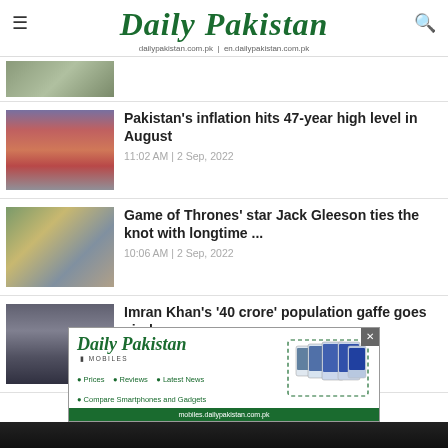Daily Pakistan — dailypakistan.com.pk | en.dailypakistan.com.pk
[Figure (photo): Partially visible thumbnail at top of news list]
Pakistan's inflation hits 47-year high level in August
11:02 AM | 2 Sep, 2022
Game of Thrones' star Jack Gleeson ties the knot with longtime ...
10:06 AM | 2 Sep, 2022
Imran Khan's '40 crore' population gaffe goes viral
09:48 AM | 2 Sep, 2022
[Figure (screenshot): Daily Pakistan Mobiles advertisement banner with phone images and bullet points: Prices, Reviews, Latest News, Compare Smartphones and Gadgets]